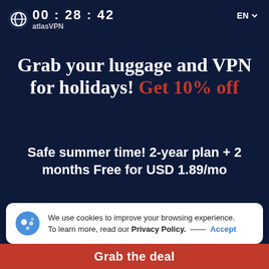[Figure (logo): Atlas VPN logo with countdown timer 00:28:42 in header]
Grab your luggage and VPN for holidays! Get 10% off
Safe summer time! 2-year plan + 2 months Free for USD 1.89/mo
Deal expires in 00 : 28 : 42
We use cookies to improve your browsing experience. To learn more, read our Privacy Policy.  —— Accept
Grab the deal